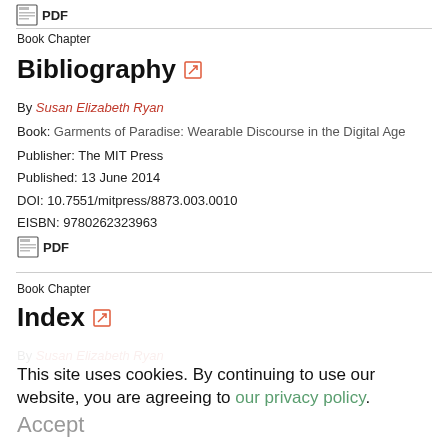[Figure (other): PDF icon at top of page]
Book Chapter
Bibliography
By Susan Elizabeth Ryan
Book: Garments of Paradise: Wearable Discourse in the Digital Age
Publisher: The MIT Press
Published: 13 June 2014
DOI: 10.7551/mitpress/8873.003.0010
EISBN: 9780262323963
[Figure (other): PDF download icon]
Book Chapter
Index
By Susan Elizabeth Ryan
This site uses cookies. By continuing to use our website, you are agreeing to our privacy policy. Accept